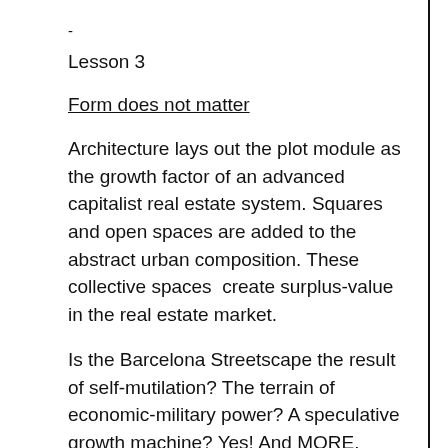-
Lesson 3
Form does not matter
Architecture lays out the plot module as the growth factor of an advanced capitalist real estate system. Squares and open spaces are added to the abstract urban composition. These collective spaces  create surplus-value in the real estate market.
Is the Barcelona Streetscape the result of self-mutilation? The terrain of economic-military power? A speculative growth machine? Yes! And MORE.